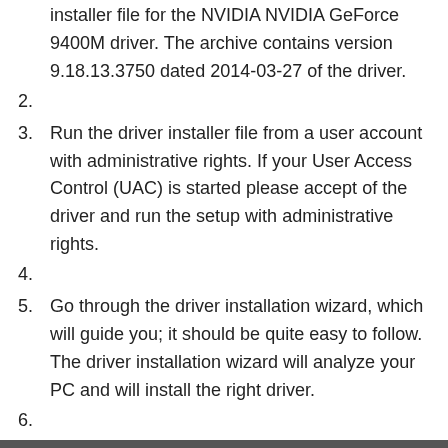installer file for the NVIDIA NVIDIA GeForce 9400M driver. The archive contains version 9.18.13.3750 dated 2014-03-27 of the driver.
2.
3. Run the driver installer file from a user account with administrative rights. If your User Access Control (UAC) is started please accept of the driver and run the setup with administrative rights.
4.
5. Go through the driver installation wizard, which will guide you; it should be quite easy to follow. The driver installation wizard will analyze your PC and will install the right driver.
6.
7. When the operation finishes restart your PC in order